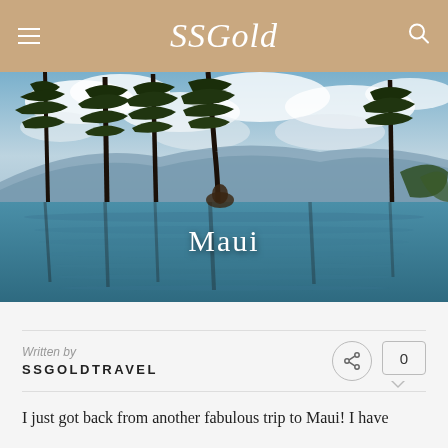SSGold
[Figure (photo): Infinity pool with palm trees against a partly cloudy sky, person in water, ocean and mountains in background. Text overlay reads 'Maui'.]
Written by
SSGOLDTRAVEL
I just got back from another fabulous trip to Maui! I have